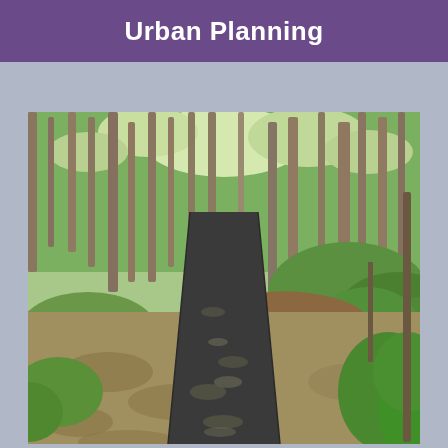Urban Planning
[Figure (photo): A paved walking/biking trail winding through a green, wooded forest with tall trees, fallen logs, and lush undergrowth on both sides. Dappled sunlight filters through the tree canopy onto the dark asphalt path.]